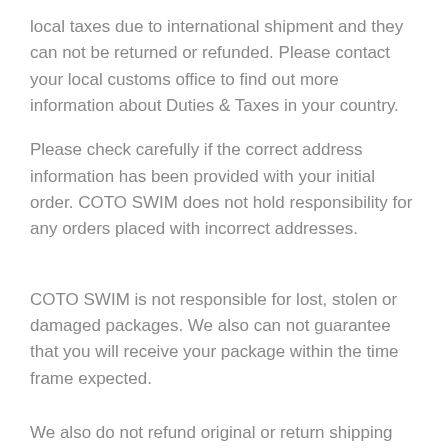local taxes due to international shipment and they can not be returned or refunded. Please contact your local customs office to find out more information about Duties & Taxes in your country.
Please check carefully if the correct address information has been provided with your initial order. COTO SWIM does not hold responsibility for any orders placed with incorrect addresses.
COTO SWIM is not responsible for lost, stolen or damaged packages. We also can not guarantee that you will receive your package within the time frame expected.
We also do not refund original or return shipping costs.